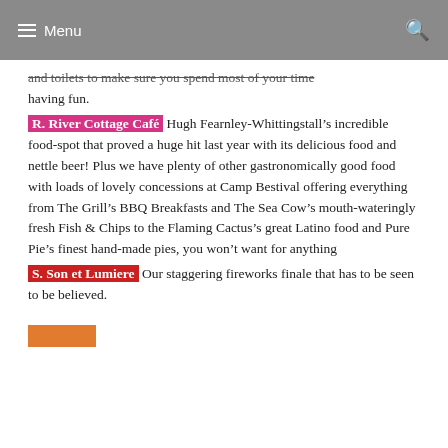Menu
and toilets to make sure you spend most of your time having fun.
R. River Cottage Café Hugh Fearnley-Whittingstall's incredible food-spot that proved a huge hit last year with its delicious food and nettle beer! Plus we have plenty of other gastronomically good food with loads of lovely concessions at Camp Bestival offering everything from The Grill's BBQ Breakfasts and The Sea Cow's mouth-wateringly fresh Fish & Chips to the Flaming Cactus's great Latino food and Pure Pie's finest hand-made pies, you won't want for anything
S. Son et Lumiere Our staggering fireworks finale that has to be seen to be believed.